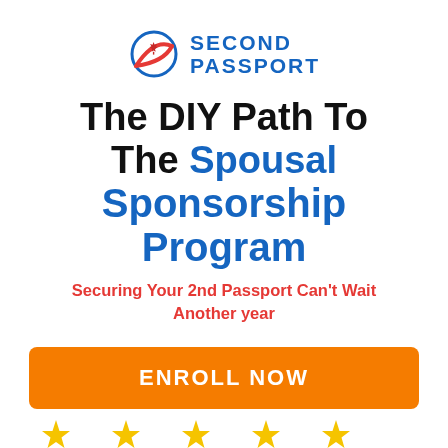[Figure (logo): Second Passport logo with maple leaf and globe icon, blue text reading SECOND PASSPORT]
The DIY Path To The Spousal Sponsorship Program
Securing Your 2nd Passport Can't Wait Another year
ENROLL NOW
[Figure (illustration): Row of gold star icons at the bottom of the page]